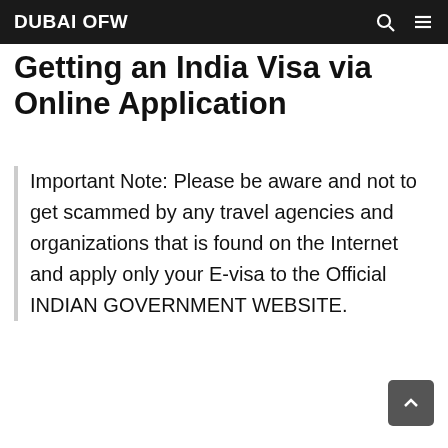DUBAI OFW
Getting an India Visa via Online Application
Important Note: Please be aware and not to get scammed by any travel agencies and organizations that is found on the Internet and apply only your E-visa to the Official INDIAN GOVERNMENT WEBSITE.